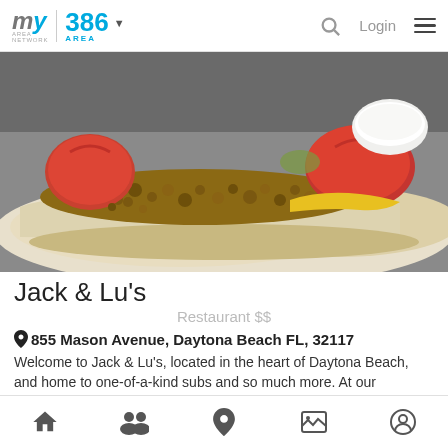my area network | 386 AREA | Login
[Figure (photo): Close-up photo of hot dog subs with toppings including ground meat, tomatoes, and mustard on a white bun, served on a plate]
Jack & Lu's
Restaurant $$
855 Mason Avenue, Daytona Beach FL, 32117
Welcome to Jack & Lu's, located in the heart of Daytona Beach, and home to one-of-a-kind subs and so much more. At our restaurant, making great food is our...
Daytona Beach
Home | Community | Location | Gallery | Profile